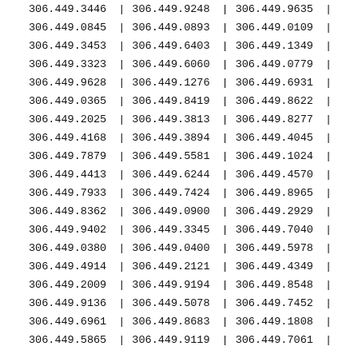| 306.449.3446 | | | 306.449.9248 | | | 306.449.9635 | | |
| 306.449.0845 | | | 306.449.0893 | | | 306.449.0109 | | |
| 306.449.3453 | | | 306.449.6403 | | | 306.449.1349 | | |
| 306.449.3323 | | | 306.449.6060 | | | 306.449.0779 | | |
| 306.449.9628 | | | 306.449.1276 | | | 306.449.6931 | | |
| 306.449.0365 | | | 306.449.8419 | | | 306.449.8622 | | |
| 306.449.2025 | | | 306.449.3813 | | | 306.449.8277 | | |
| 306.449.4168 | | | 306.449.3894 | | | 306.449.4045 | | |
| 306.449.7879 | | | 306.449.5581 | | | 306.449.1024 | | |
| 306.449.4413 | | | 306.449.6244 | | | 306.449.4570 | | |
| 306.449.7933 | | | 306.449.7424 | | | 306.449.8965 | | |
| 306.449.8362 | | | 306.449.0900 | | | 306.449.2929 | | |
| 306.449.9402 | | | 306.449.3345 | | | 306.449.7040 | | |
| 306.449.0380 | | | 306.449.0400 | | | 306.449.5978 | | |
| 306.449.4914 | | | 306.449.2121 | | | 306.449.4349 | | |
| 306.449.2009 | | | 306.449.9194 | | | 306.449.8548 | | |
| 306.449.9136 | | | 306.449.5078 | | | 306.449.7452 | | |
| 306.449.6961 | | | 306.449.8683 | | | 306.449.1808 | | |
| 306.449.5865 | | | 306.449.9119 | | | 306.449.7061 | | |